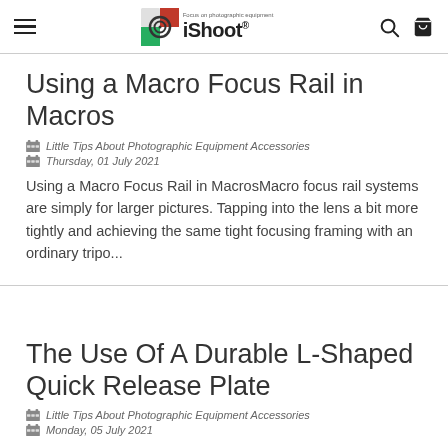iShoot® — Focus on photographic equipment
Using a Macro Focus Rail in Macros
Little Tips About Photographic Equipment Accessories
Thursday, 01 July 2021
Using a Macro Focus Rail in MacrosMacro focus rail systems are simply for larger pictures. Tapping into the lens a bit more tightly and achieving the same tight focusing framing with an ordinary tripo...
The Use Of A Durable L-Shaped Quick Release Plate
Little Tips About Photographic Equipment Accessories
Monday, 05 July 2021